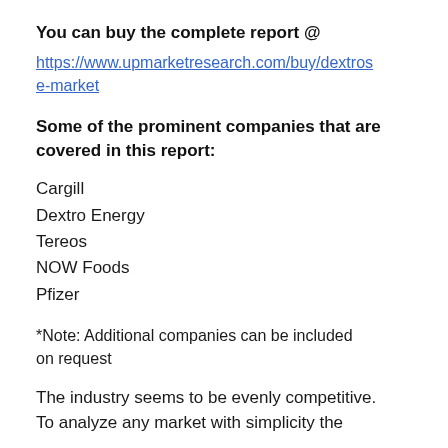You can buy the complete report @
https://www.upmarketresearch.com/buy/dextrose-market
Some of the prominent companies that are covered in this report:
Cargill
Dextro Energy
Tereos
NOW Foods
Pfizer
*Note: Additional companies can be included on request
The industry seems to be evenly competitive. To analyze any market with simplicity the